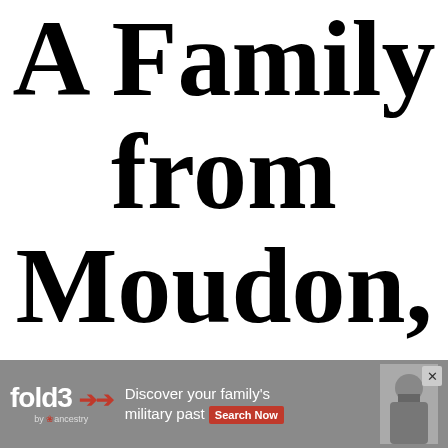A Family from Moudon, Switzerland
[Figure (other): Advertisement banner for Fold3 by Ancestry: 'Discover your family's military past' with Search Now button and a photo of a Civil War soldier]